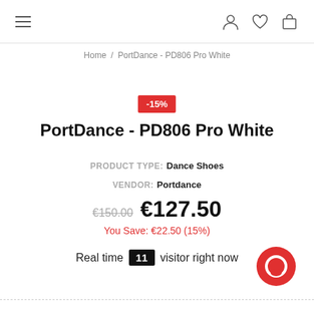≡  [user icon] [heart icon] [bag icon]
Home / PortDance - PD806 Pro White
-15%
PortDance - PD806 Pro White
PRODUCT TYPE: Dance Shoes
VENDOR: Portdance
€150.00  €127.50
You Save: €22.50 (15%)
Real time 11 visitor right now